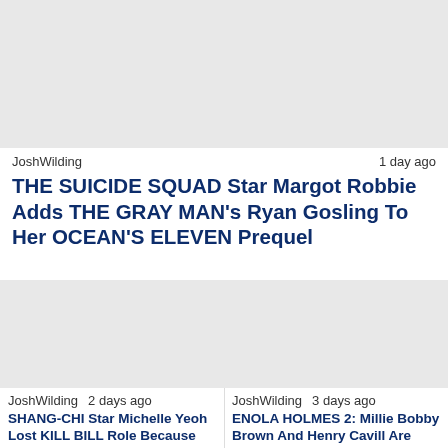[Figure (photo): Article thumbnail image placeholder (gray rectangle) for top article]
JoshWilding   1 day ago
THE SUICIDE SQUAD Star Margot Robbie Adds THE GRAY MAN's Ryan Gosling To Her OCEAN'S ELEVEN Prequel
[Figure (photo): Article thumbnail image placeholder (gray rectangle) for bottom-left article]
JoshWilding   2 days ago
SHANG-CHI Star Michelle Yeoh Lost KILL BILL Role Because No One
[Figure (photo): Article thumbnail image placeholder (gray rectangle) for bottom-right article]
JoshWilding   3 days ago
ENOLA HOLMES 2: Millie Bobby Brown And Henry Cavill Are Back In First Look At